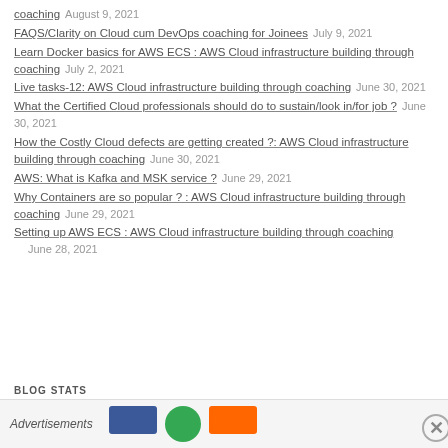coaching  August 9, 2021
FAQS/Clarity on Cloud cum DevOps coaching for Joinees  July 9, 2021
Learn Docker basics for AWS ECS : AWS Cloud infrastructure building through coaching  July 2, 2021
Live tasks-12: AWS Cloud infrastructure building through coaching  June 30, 2021
What the Certified Cloud professionals should do to sustain/look in/for job ?  June 30, 2021
How the Costly Cloud defects are getting created ?: AWS Cloud infrastructure building through coaching  June 30, 2021
AWS: What is Kafka and MSK service ?  June 29, 2021
Why Containers are so popular ? : AWS Cloud infrastructure building through coaching  June 29, 2021
Setting up AWS ECS : AWS Cloud infrastructure building through coaching  June 28, 2021
BLOG STATS
Advertisements